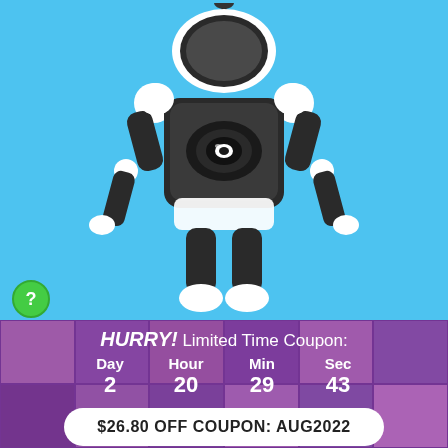[Figure (illustration): A robot figure with black and white body, arms on hips, large camera-eye in chest, standing on light blue background]
HURRY! Limited Time Coupon:
Day 2  Hour 20  Min 29  Sec 43
$26.80 OFF COUPON: AUG2022